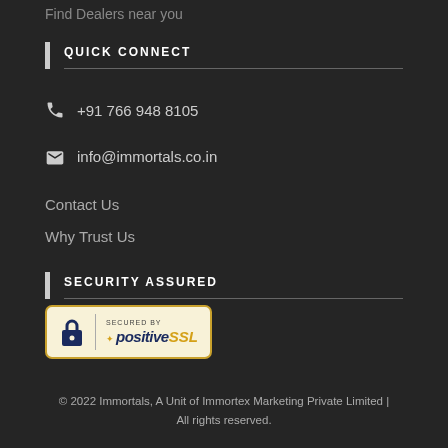Find Dealers near you
QUICK CONNECT
+91 766 948 8105
info@immortals.co.in
Contact Us
Why Trust Us
SECURITY ASSURED
[Figure (logo): PositiveSSL Secured badge showing a padlock icon, 'SECURED BY' text, and 'positiveSSL' branding in navy and gold on a cream/yellow background]
© 2022 Immortals, A Unit of Immortex Marketing Private Limited | All rights reserved.